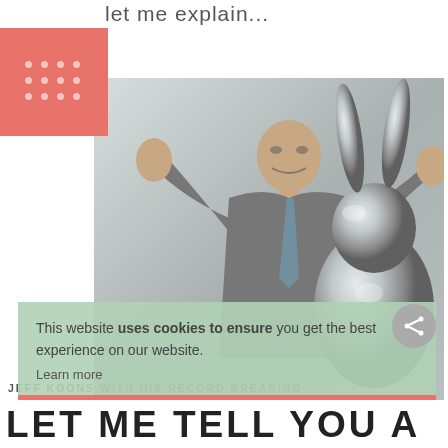let me explain...
[Figure (photo): Jeff Koons posing with his large silver mirror-polished Rabbit sculpture, wearing a grey suit, arms raised]
JEFF KOONS WITH HIS RECORD BREAKING 'RABBIT'
This website uses cookies to ensure you get the best experience on our website.
Learn more
Got it!
LET ME TELL YOU A